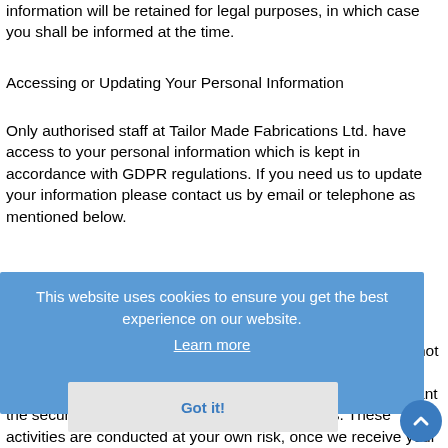information will be retained for legal purposes, in which case you shall be informed at the time.
Accessing or Updating Your Personal Information
Only authorised staff at Tailor Made Fabrications Ltd. have access to your personal information which is kept in accordance with GDPR regulations. If you need us to update your information please contact us by email or telephone as mentioned below.
Your Responsibilities
Please keep all passwords transmitted over the Internet cannot be guaranteed to be completely secure, whilst we strive to protect your personal information, we cannot ensure or warrant the security of any information you transmit to us. These activities are conducted at your own risk, once we receive your